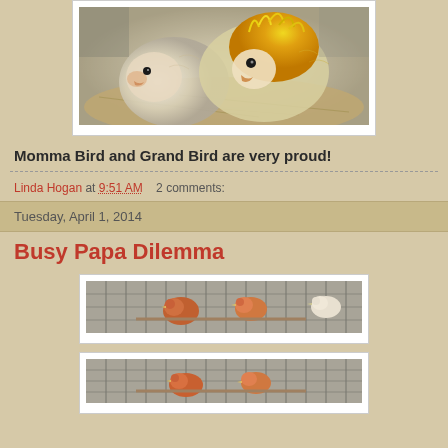[Figure (photo): Close-up photo of two young cockatiel chicks with fluffy feathers, one with yellow crest feathers, nestled together in nesting material]
Momma Bird and Grand Bird are very proud!
Linda Hogan at 9:51 AM   2 comments:
Tuesday, April 1, 2014
Busy Papa Dilemma
[Figure (photo): Photo of birds (finches) in a wire cage, showing orange/red colored birds]
[Figure (photo): Second photo of birds in a wire cage, similar to the one above]